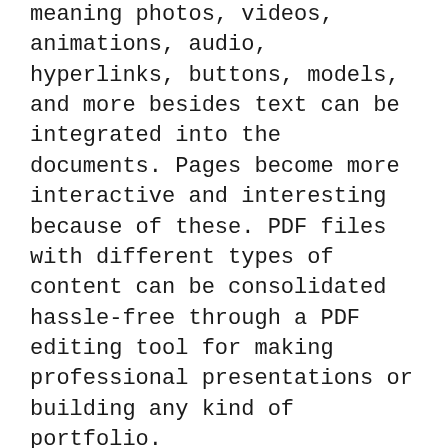meaning photos, videos, animations, audio, hyperlinks, buttons, models, and more besides text can be integrated into the documents. Pages become more interactive and interesting because of these. PDF files with different types of content can be consolidated hassle-free through a PDF editing tool for making professional presentations or building any kind of portfolio.
In terms of version independence, PDF files boast universal compatibility. The documents can be opened on any reader regardless of what version or brand the program is. There is no issue unlike in Word or PowerPoint files where .doc and .docx, and .ppt and .pptx documents only open on specific versions of the said office applications.